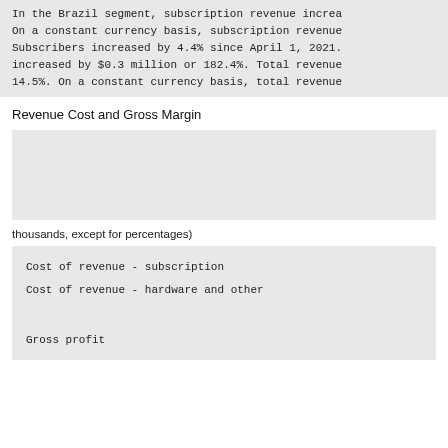In the Brazil segment, subscription revenue increa
On a constant currency basis, subscription revenue
Subscribers increased by 4.4% since April 1, 2021.
increased by $0.3 million or 182.4%. Total revenue
14.5%. On a constant currency basis, total revenue
Revenue Cost and Gross Margin
thousands, except for percentages)
| Cost of revenue - subscription |
| Cost of revenue - hardware and other |
|  |
| Gross profit |